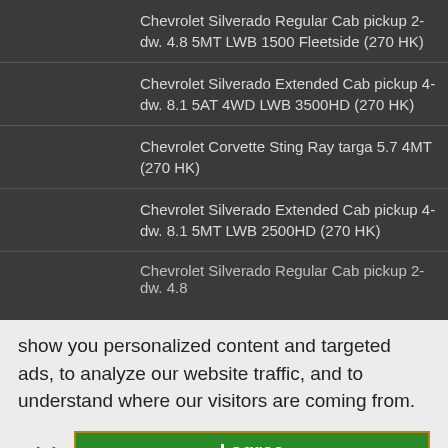Chevrolet Silverado Regular Cab pickup 2-dw. 4.8 5MT LWB 1500 Fleetside (270 HK)
Chevrolet Silverado Extended Cab pickup 4-dw. 8.1 5AT 4WD LWB 3500HD (270 HK)
Chevrolet Corvette Sting Ray targa 5.7 4MT (270 HK)
Chevrolet Silverado Extended Cab pickup 4-dw. 8.1 5MT LWB 2500HD (270 HK)
Chevrolet Silverado Regular Cab pickup 2-dw. 4.8…
show you personalized content and targeted ads, to analyze our website traffic, and to understand where our visitors are coming from.
I agree
[Figure (screenshot): CVS Pharmacy advertisement banner: Buy Online, Pick Up In-Store]